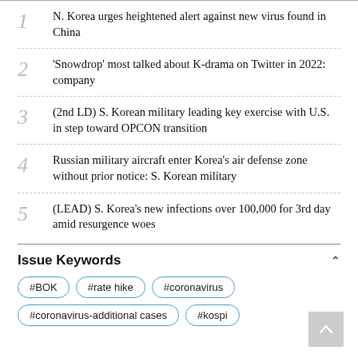1  N. Korea urges heightened alert against new virus found in China
2  'Snowdrop' most talked about K-drama on Twitter in 2022: company
3  (2nd LD) S. Korean military leading key exercise with U.S. in step toward OPCON transition
4  Russian military aircraft enter Korea's air defense zone without prior notice: S. Korean military
5  (LEAD) S. Korea's new infections over 100,000 for 3rd day amid resurgence woes
Issue Keywords
#BOK  #rate hike  #coronavirus  #coronavirus-additional cases  #kospi